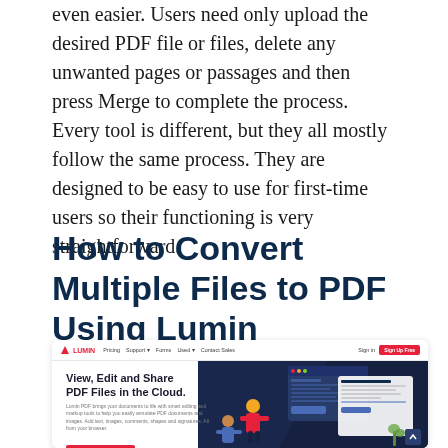even easier. Users need only upload the desired PDF file or files, delete any unwanted pages or passages and then press Merge to complete the process. Every tool is different, but they all mostly follow the same process. They are designed to be easy to use for first-time users so their functioning is very straightforward.
How to Convert Multiple Files to PDF Using Lumin
[Figure (screenshot): Screenshot of Lumin PDF website homepage showing navigation bar with Lumin logo, hero section with text 'View, Edit and Share PDF Files in the Cloud.' and a Get Started For Free button, with a dark blue right panel showing UI illustrations of people working with documents.]